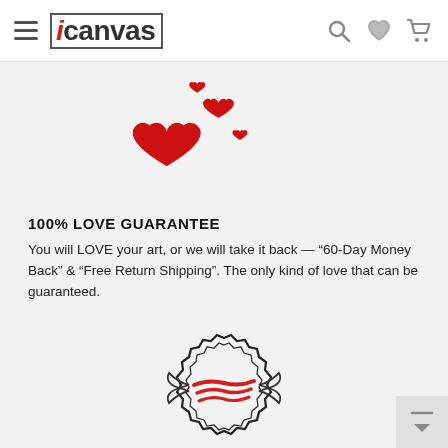icanvas navigation header with menu, logo, search, wishlist, cart icons
[Figure (illustration): Scattered red heart icons of various sizes floating upward]
100% LOVE GUARANTEE
You will LOVE your art, or we will take it back — “60-Day Money Back” & “Free Return Shipping”. The only kind of love that can be guaranteed.
[Figure (illustration): iCanvas quality seal / badge icon — a decorative stamp-like emblem with red brush strokes]
LIFETIME WARRANTY